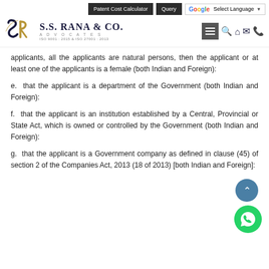Patent Cost Calculator | Query | G Select Language
[Figure (logo): S.S. Rana & Co. Advocates logo with SR monogram, text 'S.S. RANA & CO.', 'ADVOCATES', 'ISO 9001 : 2015 & ISO 27001 : 2013']
applicants, all the applicants are natural persons, then the applicant or at least one of the applicants is a female (both Indian and Foreign):
e. that the applicant is a department of the Government (both Indian and Foreign):
f. that the applicant is an institution established by a Central, Provincial or State Act, which is owned or controlled by the Government (both Indian and Foreign):
g. that the applicant is a Government company as defined in clause (45) of section 2 of the Companies Act, 2013 (18 of 2013) [both Indian and Foreign]: